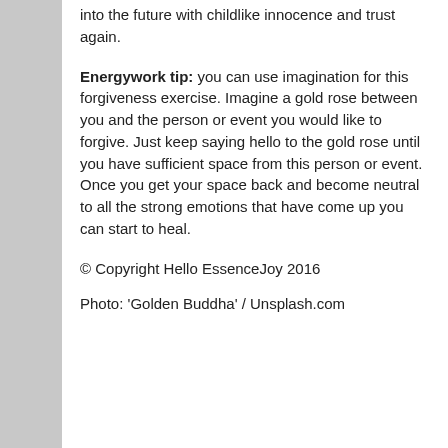into the future with childlike innocence and trust again.
Energywork tip: you can use imagination for this forgiveness exercise. Imagine a gold rose between you and the person or event you would like to forgive. Just keep saying hello to the gold rose until you have sufficient space from this person or event. Once you get your space back and become neutral to all the strong emotions that have come up you can start to heal.
© Copyright Hello EssenceJoy 2016
Photo: 'Golden Buddha' / Unsplash.com